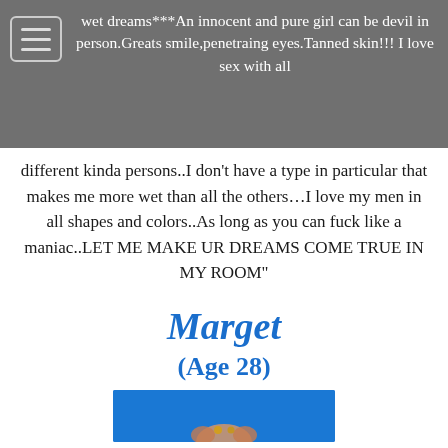wet dreams***An innocent and pure girl can be devil in person.Greats smile,penetraing eyes.Tanned skin!!! I love sex with all
different kinda persons..I don't have a type in particular that makes me more wet than all the others…I love my men in all shapes and colors..As long as you can fuck like a maniac..LET ME MAKE UR DREAMS COME TRUE IN MY ROOM"
Marget
(Age 28)
[Figure (photo): Partial photo of a person against a blue background, cropped at bottom of page]